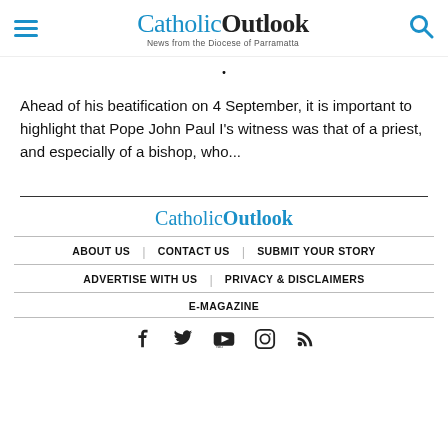CatholicOutlook – News from the Diocese of Parramatta
·
Ahead of his beatification on 4 September, it is important to highlight that Pope John Paul I's witness was that of a priest, and especially of a bishop, who...
CatholicOutlook | ABOUT US | CONTACT US | SUBMIT YOUR STORY | ADVERTISE WITH US | PRIVACY & DISCLAIMERS | E-MAGAZINE